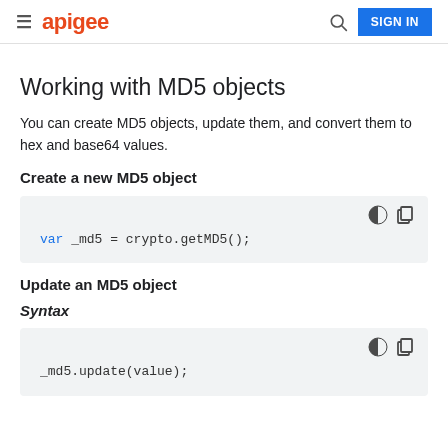apigee  SIGN IN
Working with MD5 objects
You can create MD5 objects, update them, and convert them to hex and base64 values.
Create a new MD5 object
var _md5 = crypto.getMD5();
Update an MD5 object
Syntax
_md5.update(value);